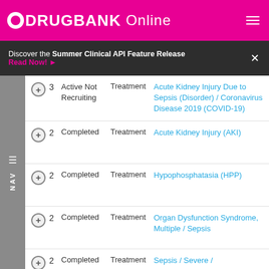DRUGBANK Online
Discover the Summer Clinical API Feature Release Read Now!
|  | # | Status | Purpose | Conditions |
| --- | --- | --- | --- | --- |
| + 3 | 3 | Active Not Recruiting | Treatment | Acute Kidney Injury Due to Sepsis (Disorder) / Coronavirus Disease 2019 (COVID-19) |
| + 2 | 2 | Completed | Treatment | Acute Kidney Injury (AKI) |
| + 2 | 2 | Completed | Treatment | Hypophosphatasia (HPP) |
| + 2 | 2 | Completed | Treatment | Organ Dysfunction Syndrome, Multiple / Sepsis |
| + 2 | 2 | Completed | Treatment | Sepsis / Severe / |